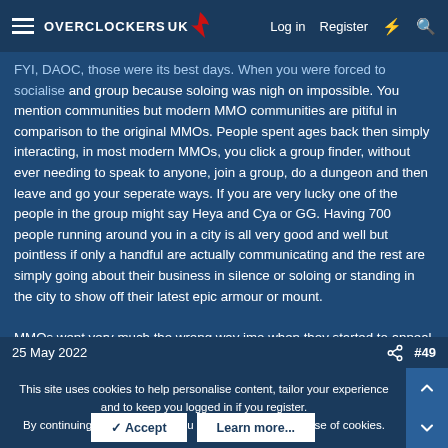Overclockers UK — Log in | Register
...those were its best days. When you were forced to socialise and group because soloing was nigh on impossible. You mention communities but modern MMO communities are pitiful in comparison to the original MMOs. People spent ages back then simply interacting, in most modern MMOs, you click a group finder, without ever needing to speak to anyone, join a group, do a dungeon and then leave and go your seperate ways. If you are very lucky one of the people in the group might say Heya and Cya or GG. Having 700 people running around you in a city is all very good and well but pointless if only a handful are actually communicating and the rest are simply going about their business in silence or soloing or standing in the city to show off their latest epic armour or mount.

MMOs went very much the wrong way imo when they started to appeal to the masses and began making themselves soloable.
25 May 2022   #49
This site uses cookies to help personalise content, tailor your experience and to keep you logged in if you register.
By continuing to use this site, you are consenting to our use of cookies.
✓ Accept   Learn more...